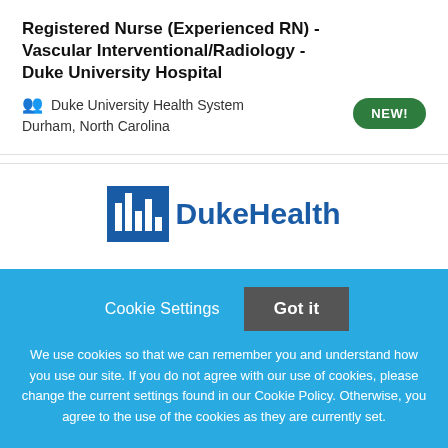Registered Nurse (Experienced RN) - Vascular Interventional/Radiology - Duke University Hospital
Duke University Health System
Durham, North Carolina
[Figure (logo): Duke Health logo with blue box icon and DukeHealth text]
Cookie Settings  Got it

We use cookies so that we can remember you and understand how you use our site. If you do not agree with our use of cookies, please change the current settings found in our Cookie Policy. Otherwise, you agree to the use of the cookies as they are currently set.